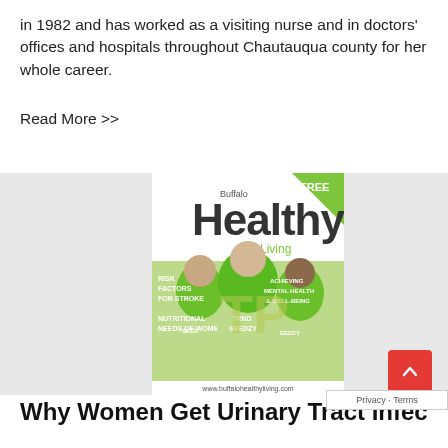in 1982 and has worked as a visiting nurse and in doctors' offices and hospitals throughout Chautauqua county for her whole career.
Read More >>
[Figure (photo): Buffalo Healthy Living magazine cover featuring three women in green SEEDZ hoodies, with text: RISK FACTORS FOR STROKE, ACHIEVING MENTAL HEALTH & WELL-BEING, NUTRITIONAL NEEDS OF WOMEN, www.buffalohealthyliving.com]
Why Women Get Urinary Tract Infections